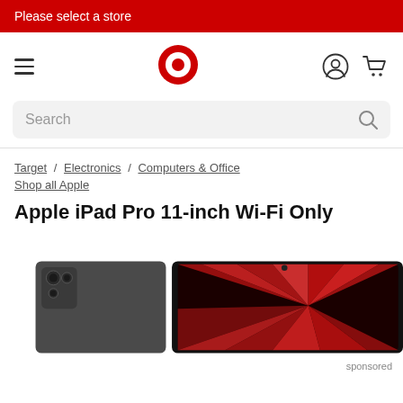Please select a store
[Figure (logo): Target bullseye logo in red and white in the center of the navigation bar, with hamburger menu on the left and account/cart icons on the right]
Search
Target / Electronics / Computers & Office
Shop all Apple
Apple iPad Pro 11-inch Wi-Fi Only
[Figure (photo): Apple iPad Pro 11-inch shown in space gray with triple camera system on the back and the screen visible displaying red abstract wallpaper]
sponsored